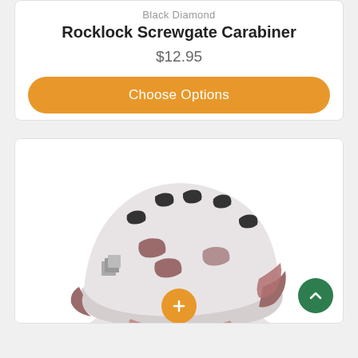Black Diamond
Rocklock Screwgate Carabiner
$12.95
Choose Options
[Figure (photo): White and mauve Black Diamond climbing helmet with ventilation slots and the Black Diamond logo visible on the side, photographed from a three-quarter front view against a white background.]